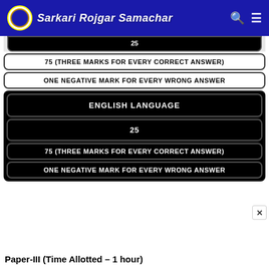Sarkari Rojgar Samachar
| 25 |
| 75 (THREE MARKS FOR EVERY CORRECT ANSWER) |
| ONE NEGATIVE MARK FOR EVERY WRONG ANSWER |
| ENGLISH LANGUAGE |
| 25 |
| 75 (THREE MARKS FOR EVERY CORRECT ANSWER) |
| ONE NEGATIVE MARK FOR EVERY WRONG ANSWER |
Paper-III (Time Allotted – 1 hour)